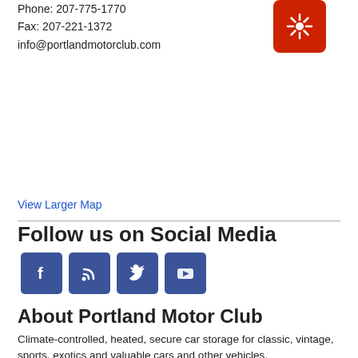Phone: 207-775-1770
Fax: 207-221-1372
info@portlandmotorclub.com
[Figure (logo): Red rounded square logo with white sun/star icon]
View Larger Map
Follow us on Social Media
[Figure (infographic): Four social media icon buttons: Facebook, RSS, Twitter, YouTube — dark blue rounded squares]
About Portland Motor Club
Climate-controlled, heated, secure car storage for classic, vintage, sports, exotics and valuable cars and other vehicles.